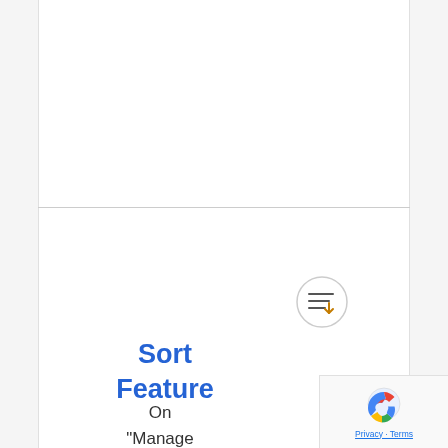[Figure (illustration): Sort feature icon: a circle with horizontal lines and a downward arrow, indicating sort/download functionality]
Sort Feature
On "Manage Rule" page, admin can drag the